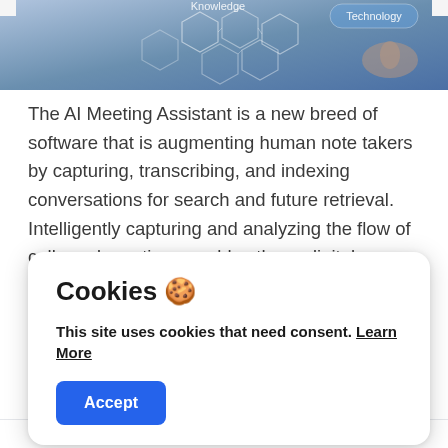[Figure (photo): Hero image showing a digital technology interface with hexagonal shapes, the words 'Knowledge' and 'Technology' visible, with a hand touching a screen in the background. Blue-toned tech aesthetic.]
The AI Meeting Assistant is a new breed of software that is augmenting human note takers by capturing, transcribing, and indexing conversations for search and future retrieval. Intelligently capturing and analyzing the flow of calls and meetings enables these digital assistants to empower companies to make more informed decisions. This article discusses the rise of the AI meeting assistant, some of the underlying enabling technologies, and common use
Cookies 🍪
This site uses cookies that need consent. Learn More
Accept
The Rise of AI Meeting Assistants